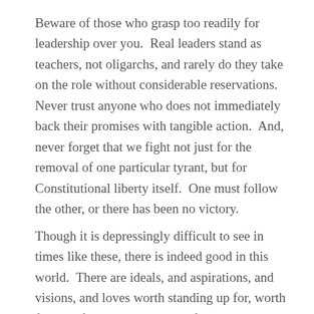Beware of those who grasp too readily for leadership over you.  Real leaders stand as teachers, not oligarchs, and rarely do they take on the role without considerable reservations.  Never trust anyone who does not immediately back their promises with tangible action.  And, never forget that we fight not just for the removal of one particular tyrant, but for Constitutional liberty itself.  One must follow the other, or there has been no victory.
Though it is depressingly difficult to see in times like these, there is indeed good in this world.  There are ideals, and aspirations, and visions, and loves worth standing up for, worth fighting for, and worth dying for.  There is still a future worth striving for at